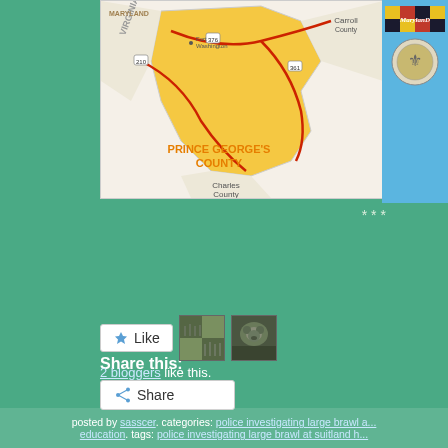[Figure (map): Map of Prince George's County, Maryland area showing surrounding counties (Charles County, Carroll County), roads (210, 376, 361), Virginia border, and the Potomac River area near Fort Washington. Prince George's County highlighted in yellow/gold.]
[Figure (logo): Maryland state logo and seal on blue background]
***
Share this:
[Figure (other): Share button with share icon]
[Figure (other): Like button with star icon and two blogger avatars]
2 bloggers like this.
posted by sasscer. categories: police investigating large brawl a... education. tags: police investigating large brawl at suitland h...